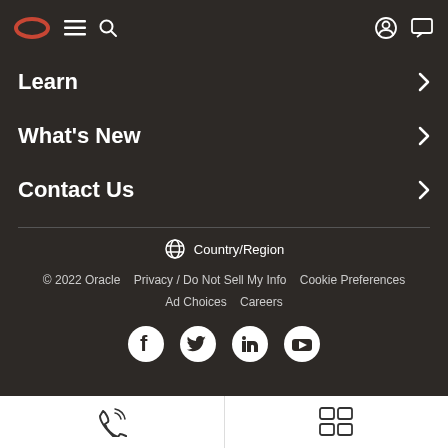Oracle navigation bar with logo, menu, search, account, and chat icons
Learn
What's New
Contact Us
Country/Region
© 2022 Oracle   Privacy / Do Not Sell My Info   Cookie Preferences   Ad Choices   Careers
[Figure (illustration): Social media icons: Facebook, Twitter, LinkedIn, YouTube]
[Figure (illustration): Bottom bar with phone/call icon on left and chat/social icon on right]